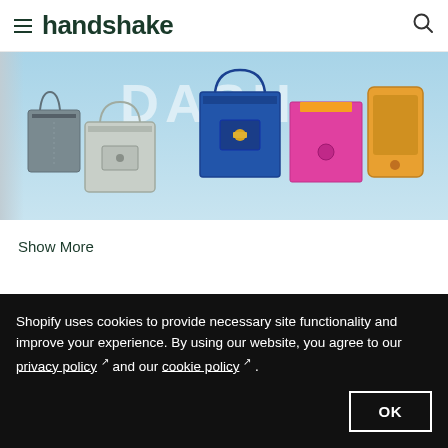handshake
[Figure (photo): Product display banner showing multiple colorful handbags and purses with 'DASH' text visible in the background, on a light blue background.]
Show More
More from this brand
View all products
Shopify uses cookies to provide necessary site functionality and improve your experience. By using our website, you agree to our privacy policy and our cookie policy .